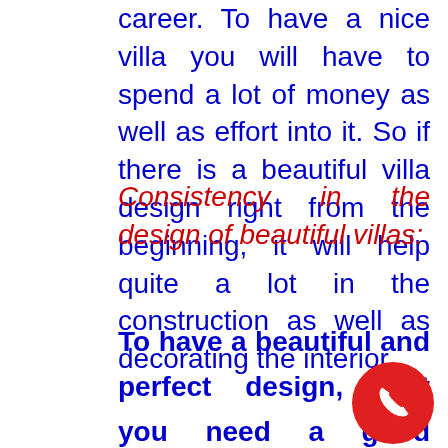career. To have a nice villa you will have to spend a lot of money as well as effort into it. So if there is a beautiful villa design right from the beginning, it will help quite a lot in the construction as well as decorating the interior.
Consistency in the design of beautiful villas:
To have a beautiful and perfect design, first you need a good architect and experienced in the design of beautiful villas . Because team KTS We w always brings the design st